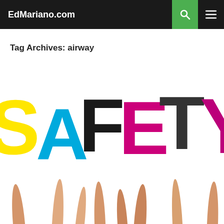EdMariano.com
Tag Archives: airway
[Figure (photo): Multiple hands raised holding large colorful letters spelling SAFETY against a white background. Letters are in yellow (S), cyan/blue (A), black (F), magenta/pink (E), dark gray/black (T), and magenta/pink (Y).]